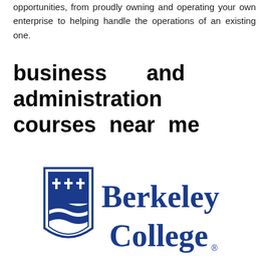opportunities, from proudly owning and operating your own enterprise to helping handle the operations of an existing one.
business and administration courses near me
[Figure (logo): Berkeley College logo with shield crest on left and 'Berkeley College' text in blue serif font on right, with registered trademark symbol]